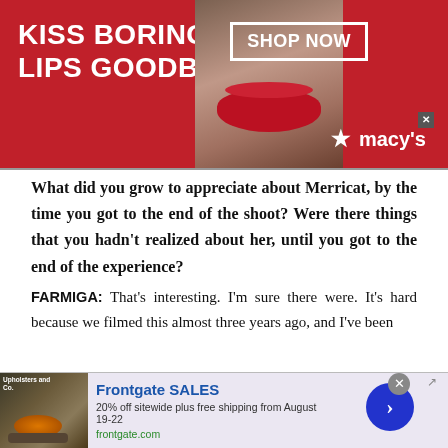[Figure (screenshot): Top advertisement banner for Macy's lipstick promotion. Red background with white bold text 'KISS BORING LIPS GOODBYE', a photo of a woman's face with red lips in the center, and on the right 'SHOP NOW' in a white box and the Macy's star logo. A close (x) button is in the corner.]
What did you grow to appreciate about Merricat, by the time you got to the end of the shoot? Were there things that you hadn't realized about her, until you got to the end of the experience?
FARMIGA: That's interesting. I'm sure there were. It's hard because we filmed this almost three years ago, and I've been
[Figure (screenshot): Bottom advertisement for Frontgate SALES. Shows outdoor furniture/fire pit photo, text 'Frontgate SALES', '20% off sitewide plus free shipping from August 19-22', 'frontgate.com', a purple/blue right-arrow circle button, a close (x) button, and an external link icon.]